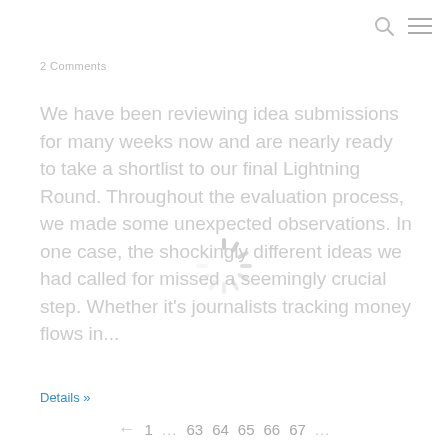2 Comments
We have been reviewing idea submissions for many weeks now and are nearly ready to take a shortlist to our final Lightning Round.  Throughout the evaluation process, we made some unexpected observations.  In one case, the shockingly different ideas we had called for missed a seemingly crucial step. Whether it's journalists tracking money flows in...
Details »
← 1 ... 63 64 65 66 67 ...